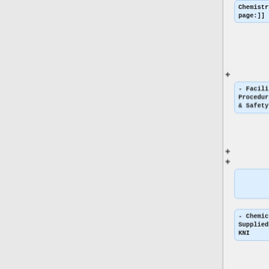Chemistry page:]]
- Facilities Procedures & Safety
- Chemicals Supplied by KNI
- Chemicals Approved for use in KNI cleanroom- Safety Data Sheet (SDS)